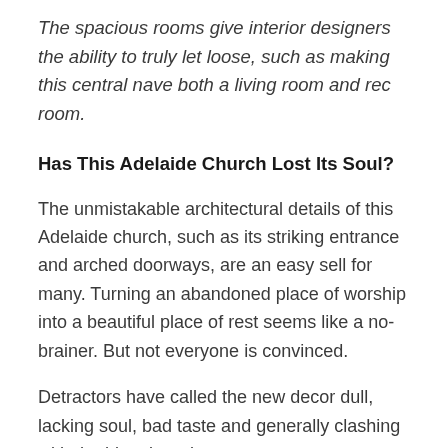The spacious rooms give interior designers the ability to truly let loose, such as making this central nave both a living room and rec room.
Has This Adelaide Church Lost Its Soul?
The unmistakable architectural details of this Adelaide church, such as its striking entrance and arched doorways, are an easy sell for many. Turning an abandoned place of worship into a beautiful place of rest seems like a no-brainer. But not everyone is convinced.
Detractors have called the new decor dull, lacking soul, bad taste and generally clashing with the historic style